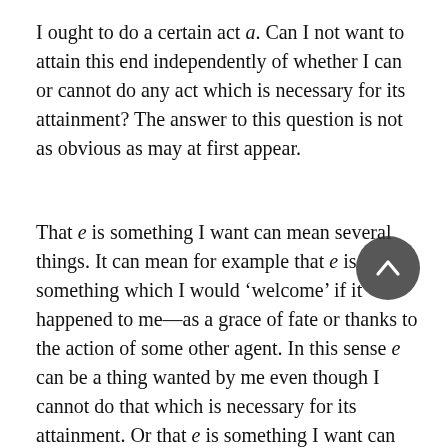I ought to do a certain act a. Can I not want to attain this end independently of whether I can or cannot do any act which is necessary for its attainment? The answer to this question is not as obvious as may at first appear.
That e is something I want can mean several things. It can mean for example that e is something which I would 'welcome' if it happened to me—as a grace of fate or thanks to the action of some other agent. In this sense e can be a thing wanted by me even though I cannot do that which is necessary for its attainment. Or that e is something I want can mean that I wish that e would happen to me. This too I can do without being able to use the necessary means for the attainment of e. But to want something can also mean to pursue it as an end of action. This is neither the same as to wish for it nor as to welcome it if it happens. It may be argued that pursuit of something as an end of action is not